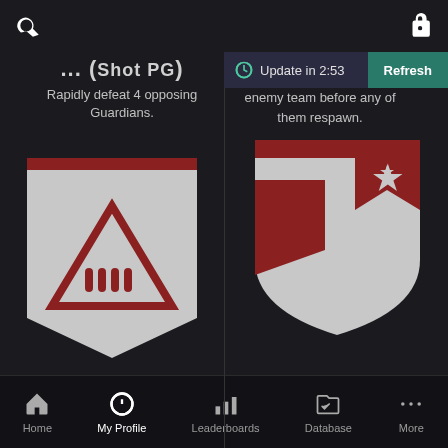Search | Gift
... (Shot PG)
Rapidly defeat 4 opposing Guardians.
Update in 2:53 | Refresh
enemy team before any of them respawn.
[Figure (illustration): Shield/banner medal badge with downward-pointing triangle and bullet icons, dark red on gray]
[Figure (illustration): Shield medal badge with dark red and star design on gray background]
Combined Fire
6,298 (1.40 PGA)
In a single life, defeat 3 opposing Guardians while assisting or assisted by your
[Figure (screenshot): Screenshot of Bloodhunt Stats website with video thumbnail and weekly content thumbnails]
Home | My Profile | Leaderboards | Database | More